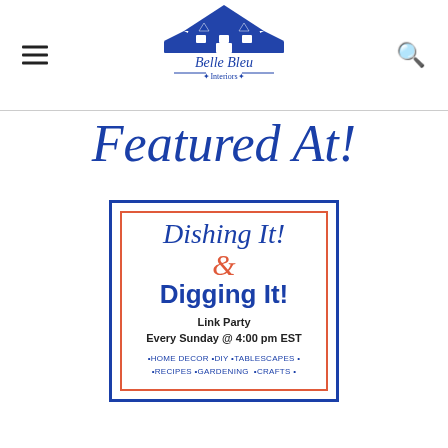[Figure (logo): Belle Bleu Interiors logo — illustration of a house with decorative script text 'Belle Bleu Interiors']
Featured At!
[Figure (illustration): Dishing It! & Digging It! Link Party badge. Blue outer border, orange/red inner border. Text: 'Dishing It!' in blue italic script, '&' in orange italic, 'Digging It!' in blue bold sans-serif. Below: 'Link Party', 'Every Sunday @ 4:00 pm EST', '•HOME DECOR •DIY •TABLESCAPES •', '•RECIPES •GARDENING •CRAFTS •']